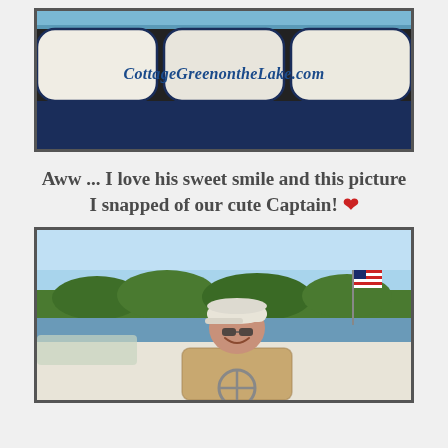[Figure (photo): Photo of boat seats with italic text overlay reading 'CottageGreenontheLake.com' in blue, white and navy blue cushioned boat seating visible]
Aww ... I love his sweet smile and this picture I snapped of our cute Captain! ❤
[Figure (photo): Photo of a smiling man wearing a white cap and floral shirt steering a boat, with an American flag and tree-lined shoreline in the background on a sunny day]